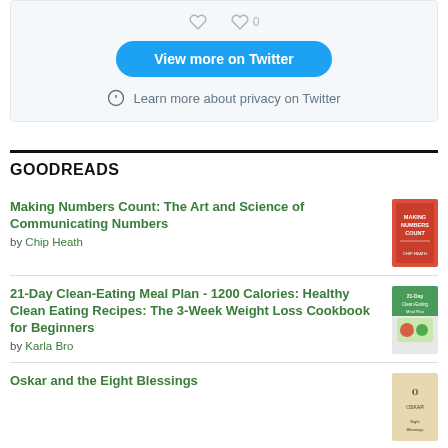[Figure (screenshot): Twitter widget with heart/like icons, 'View more on Twitter' button, and privacy notice]
GOODREADS
Making Numbers Count: The Art and Science of Communicating Numbers by Chip Heath
21-Day Clean-Eating Meal Plan - 1200 Calories: Healthy Clean Eating Recipes: The 3-Week Weight Loss Cookbook for Beginners by Karla Bro
Oskar and the Eight Blessings